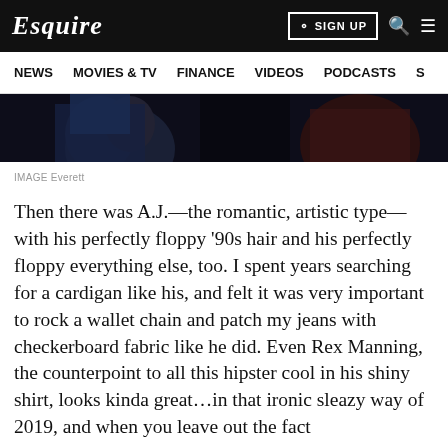Esquire | SIGN UP
NEWS   MOVIES & TV   FINANCE   VIDEOS   PODCASTS   S
[Figure (photo): Dark cropped image showing figures, part of an editorial article illustration]
IMAGE Everett
Then there was A.J.—the romantic, artistic type—with his perfectly floppy '90s hair and his perfectly floppy everything else, too. I spent years searching for a cardigan like his, and felt it was very important to rock a wallet chain and patch my jeans with checkerboard fabric like he did. Even Rex Manning, the counterpoint to all this hipster cool in his shiny shirt, looks kinda great…in that ironic sleazy way of 2019, and when you leave out the fact